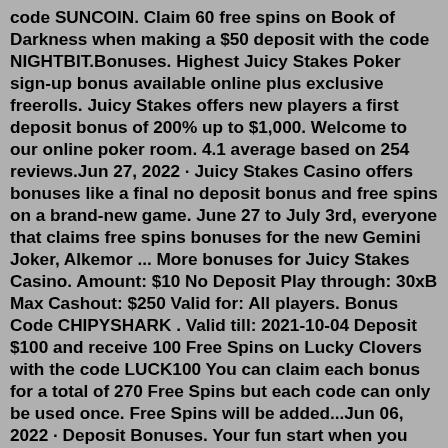code SUNCOIN. Claim 60 free spins on Book of Darkness when making a $50 deposit with the code NIGHTBIT.Bonuses. Highest Juicy Stakes Poker sign-up bonus available online plus exclusive freerolls. Juicy Stakes offers new players a first deposit bonus of 200% up to $1,000. Welcome to our online poker room. 4.1 average based on 254 reviews.Jun 27, 2022 · Juicy Stakes Casino offers bonuses like a final no deposit bonus and free spins on a brand-new game. June 27 to July 3rd, everyone that claims free spins bonuses for the new Gemini Joker, Alkemor ... More bonuses for Juicy Stakes Casino. Amount: $10 No Deposit Play through: 30xB Max Cashout: $250 Valid for: All players. Bonus Code CHIPYSHARK . Valid till: 2021-10-04 Deposit $100 and receive 100 Free Spins on Lucky Clovers with the code LUCK100 You can claim each bonus for a total of 270 Free Spins but each code can only be used once. Free Spins will be added...Jun 06, 2022 · Deposit Bonuses. Your fun start when you make a deposit, which has a great welcome bonus for new players. They give you 200% on your